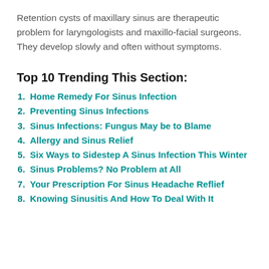Retention cysts of maxillary sinus are therapeutic problem for laryngologists and maxillo-facial surgeons. They develop slowly and often without symptoms.
Top 10 Trending This Section:
Home Remedy For Sinus Infection
Preventing Sinus Infections
Sinus Infections: Fungus May be to Blame
Allergy and Sinus Relief
Six Ways to Sidestep A Sinus Infection This Winter
Sinus Problems? No Problem at All
Your Prescription For Sinus Headache Reflief
Knowing Sinusitis And How To Deal With It